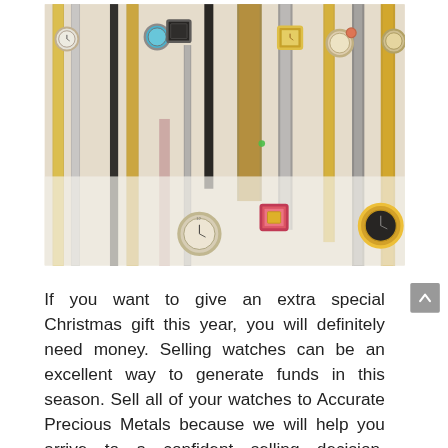[Figure (photo): A collection of various watches with different bands including gold, silver, black leather, and decorative straps, spread out on a white surface. Watches include analog timepieces with colorful faces and embellishments.]
If you want to give an extra special Christmas gift this year, you will definitely need money. Selling watches can be an excellent way to generate funds in this season. Sell all of your watches to Accurate Precious Metals because we will help you arrive to a confident selling decision. Watches are one of those